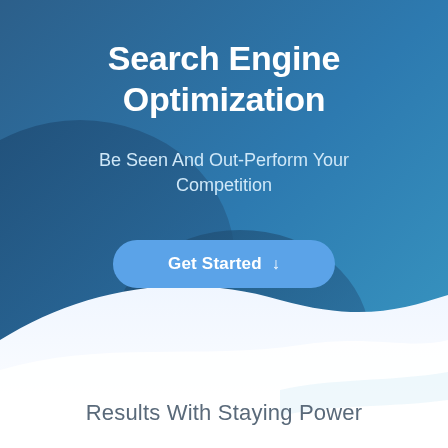[Figure (illustration): Blue gradient hero background with dark blue to teal gradient, decorative organic blob shapes in darker blue tones in the upper-left and center area, and a large white wave shape sweeping across the lower portion of the image.]
Search Engine Optimization
Be Seen And Out-Perform Your Competition
Get Started ↓
Results With Staying Power